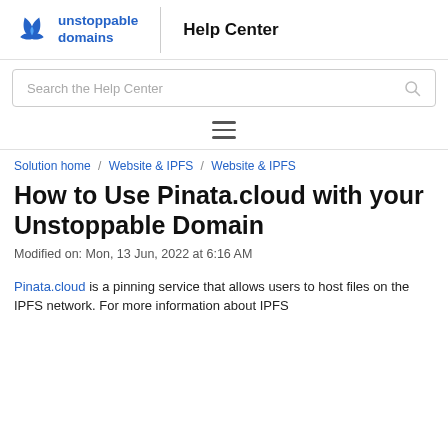unstoppable domains | Help Center
Search the Help Center
≡
Solution home / Website & IPFS / Website & IPFS
How to Use Pinata.cloud with your Unstoppable Domain
Modified on: Mon, 13 Jun, 2022 at 6:16 AM
Pinata.cloud is a pinning service that allows users to host files on the IPFS network. For more information about IPFS…